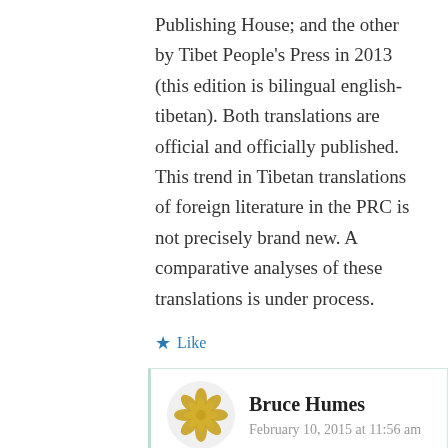Publishing House; and the other by Tibet People's Press in 2013 (this edition is bilingual english-tibetan). Both translations are official and officially published. This trend in Tibetan translations of foreign literature in the PRC is not precisely brand new. A comparative analyses of these translations is under process.
Like
Reply
Bruce Humes
February 10, 2015 at 11:56 am